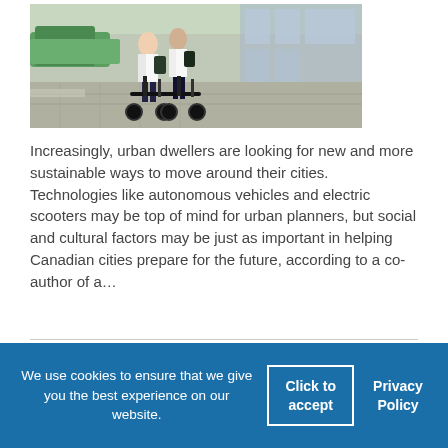[Figure (photo): Two people riding electric scooters on a city sidewalk/plaza area, with buildings, hedges, and street visible in the background.]
Increasingly, urban dwellers are looking for new and more sustainable ways to move around their cities. Technologies like autonomous vehicles and electric scooters may be top of mind for urban planners, but social and cultural factors may be just as important in helping Canadian cities prepare for the future, according to a co-author of a…
We use cookies to ensure that we give you the best experience on our website.
Click to accept
Privacy Policy